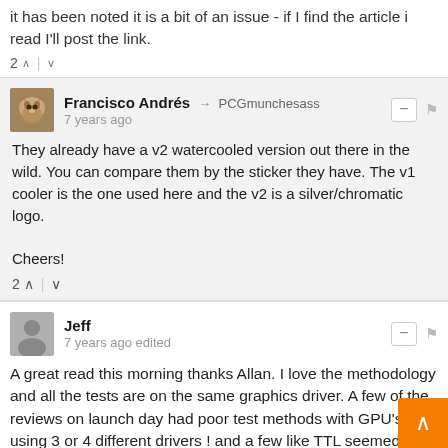it has been noted it is a bit of an issue - if I find the article i read I'll post the link.
2 ∧ | ∨
Francisco Andrés → PCGmunchesass
7 years ago
They already have a v2 watercooled version out there in the wild. You can compare them by the sticker they have. The v1 cooler is the one used here and the v2 is a silver/chromatic logo.

Cheers!
2 ∧ | ∨
Jeff
7 years ago edited
A great read this morning thanks Allan. I love the methodology and all the tests are on the same graphics driver. A few of the reviews on launch day had poor test methods with GPU's using 3 or 4 different drivers ! and a few like TTL seemed just like a pat on the back for AMD with many contradictions throughout rather than a proper review - quite easy to spot. Always read KitGuru for